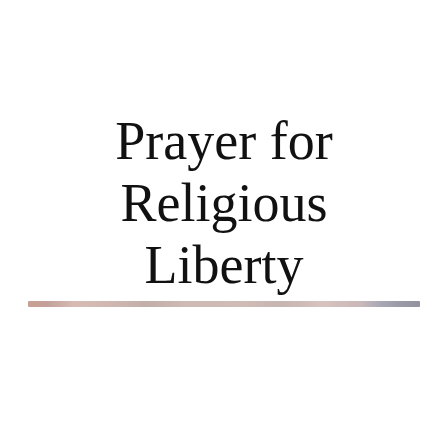Prayer for Religious Liberty
[Figure (illustration): A thin horizontal decorative divider bar with muted earthy tones — pinks, grays, and browns — spanning most of the page width.]